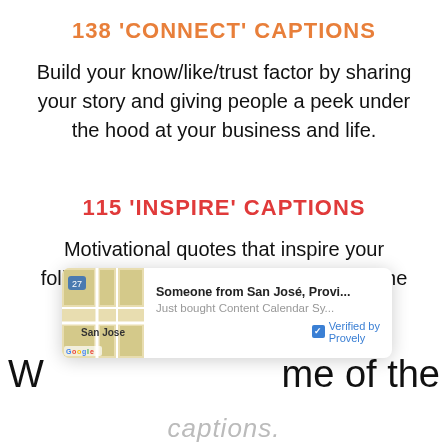138 'CONNECT' CAPTIONS
Build your know/like/trust factor by sharing your story and giving people a peek under the hood at your business and life.
115 'INSPIRE' CAPTIONS
Motivational quotes that inspire your followers and signal "good content" to the algorithms so more people find it.
[Figure (screenshot): Provely social proof notification popup showing someone from San José bought Content Calendar Sy..., verified by Provely, with a Google Maps thumbnail of San Jose]
W ... me of the ... captions.